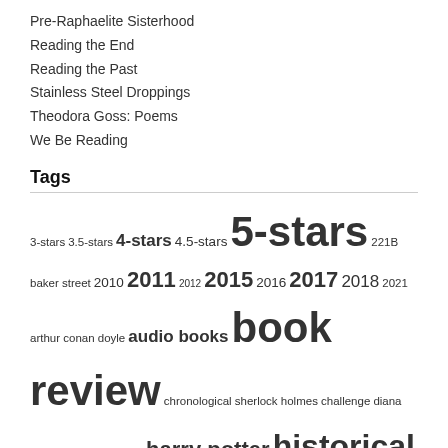Pre-Raphaelite Sisterhood
Reading the End
Reading the Past
Stainless Steel Droppings
Theodora Goss: Poems
We Be Reading
Tags
3-stars 3.5-stars 4-stars 4.5-stars 5-stars 221B baker street 2010 2011 2012 2015 2016 2017 2018 2021 arthur conan doyle audio books book review chronological sherlock holmes challenge diana gabaldon emily brontë harry potter historical fiction challenge in-progress j. k. rowling jane austen jasper fforde jennifer donnelly kindle london meme neil gaiman outlander